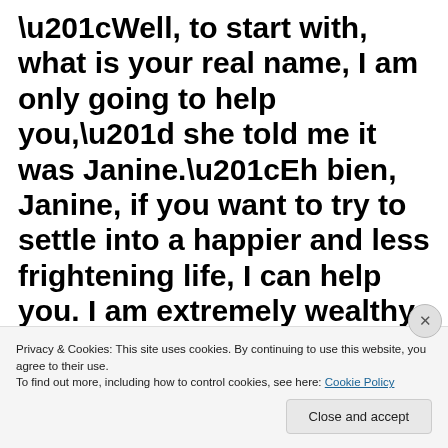“Well, to start with, what is your real name, I am only going to help you,” she told me it was Janine.“Eh bien, Janine, if you want to try to settle into a happier and less frightening life, I can help you. I am extremely wealthy and live on the Ile Saint
Privacy & Cookies: This site uses cookies. By continuing to use this website, you agree to their use.
To find out more, including how to control cookies, see here: Cookie Policy